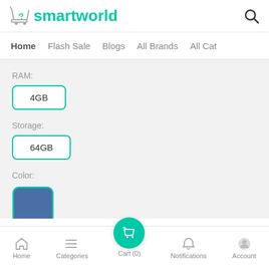smartworld
Home  Flash Sale  Blogs  All Brands  All Cat
RAM:
4GB
Storage:
64GB
Color:
[Figure (other): Blue color swatch square with teal border]
Home  Categories  Cart (0)  Notifications  Account